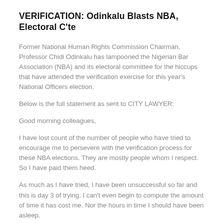VERIFICATION: Odinkalu Blasts NBA, Electoral C'te
Former National Human Rights Commission Chairman, Professor Chidi Odinkalu has lampooned the Nigerian Bar Association (NBA) and its electoral committee for the hiccups that have attended the verification exercise for this year's National Officers election.
Below is the full statement as sent to CITY LAWYER:
Good morning colleagues,
I have lost count of the number of people who have tried to encourage me to persevere with the verification process for these NBA elections. They are mostly people whom I respect. So I have paid them heed.
As much as I have tried, I have been unsuccessful so far and this is day 3 of trying. I can't even begin to compute the amount of time it has cost me. Nor the hours in time I should have been asleep.